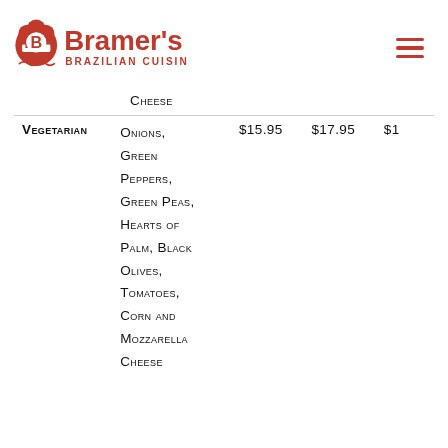[Figure (logo): Bramer's Brazilian Cuisine logo in red with a chef hat icon and the letter B]
Cheese
| Category | Description | Price 1 | Price 2 | Price 3 |
| --- | --- | --- | --- | --- |
| Vegetarian | Onions, Green Peppers, Green Peas, Hearts of Palm, Black Olives, Tomatoes, Corn and Mozzarella Cheese | $15.95 | $17.95 | $1… |